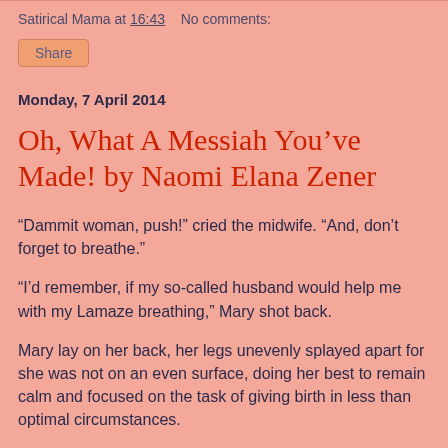Satirical Mama at 16:43   No comments:
Share
Monday, 7 April 2014
Oh, What A Messiah You’ve Made! by Naomi Elana Zener
“Dammit woman, push!” cried the midwife. “And, don’t forget to breathe.”
“I’d remember, if my so-called husband would help me with my Lamaze breathing,” Mary shot back.
Mary lay on her back, her legs unevenly splayed apart for she was not on an even surface, doing her best to remain calm and focused on the task of giving birth in less than optimal circumstances.